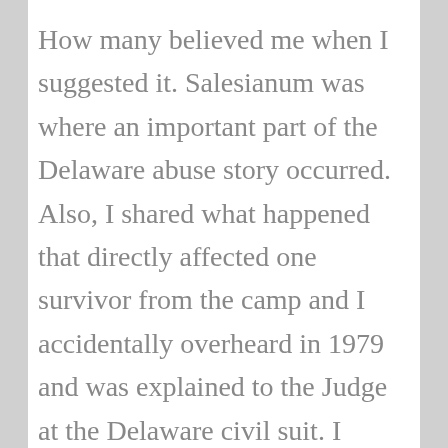How many believed me when I suggested it. Salesianum was where an important part of the Delaware abuse story occurred. Also, I shared what happened that directly affected one survivor from the camp and I accidentally overheard in 1979 and was explained to the Judge at the Delaware civil suit. I wrote to Kathy and Susan about that because in my opinion that affected the outcome of the suit. The judge saw through the Oblates gambit and the judge told the lawyer what needed to be done. Again, not clear, but all I can write. That survivor regularly called to remind